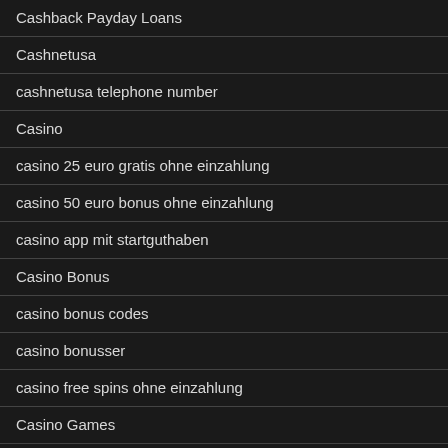Cashback Payday Loans
Cashnetusa
cashnetusa telephone number
Casino
casino 25 euro gratis ohne einzahlung
casino 50 euro bonus ohne einzahlung
casino app mit startguthaben
Casino Bonus
casino bonus codes
casino bonusser
casino free spins ohne einzahlung
Casino Games
casino mate bonus code